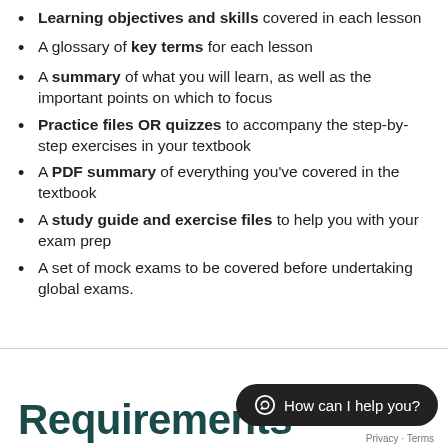Learning objectives and skills covered in each lesson
A glossary of key terms for each lesson
A summary of what you will learn, as well as the important points on which to focus
Practice files OR quizzes to accompany the step-by-step exercises in your textbook
A PDF summary of everything you've covered in the textbook
A study guide and exercise files to help you with your exam prep
A set of mock exams to be covered before undertaking global exams.
Requirements